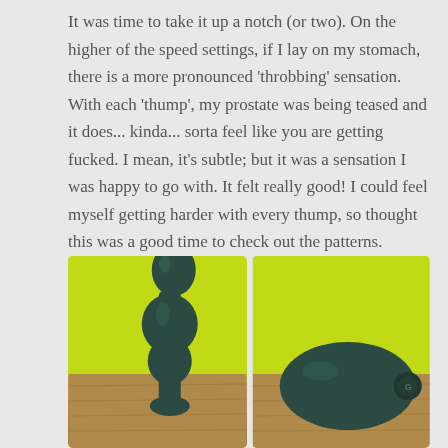It was time to take it up a notch (or two). On the higher of the speed settings, if I lay on my stomach, there is a more pronounced 'throbbing' sensation. With each 'thump', my prostate was being teased and it does... kinda... sorta feel like you are getting fucked. I mean, it's subtle; but it was a sensation I was happy to go with. It felt really good! I could feel myself getting harder with every thump, so thought this was a good time to check out the patterns.
[Figure (photo): Two photos side by side of a dark teal/green prostate massager toy. Left photo shows the toy standing upright against a bright yellow-green background with a wooden floor visible at the bottom. Right photo shows the toy lying on its side showing the base/end with a button, against the same yellow-green background.]